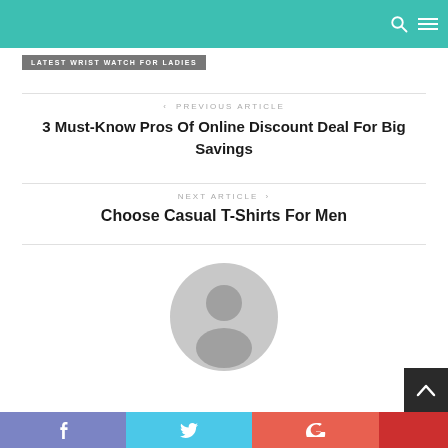LATEST WRIST WATCH FOR LADIES
< PREVIOUS ARTICLE
3 Must-Know Pros Of Online Discount Deal For Big Savings
NEXT ARTICLE >
Choose Casual T-Shirts For Men
[Figure (illustration): Default user avatar / profile picture placeholder, grey circular icon with person silhouette]
f  t  G